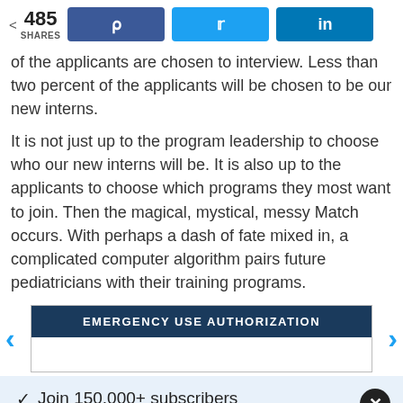485 SHARES
of the applicants are chosen to interview. Less than two percent of the applicants will be chosen to be our new interns.
It is not just up to the program leadership to choose who our new interns will be. It is also up to the applicants to choose which programs they most want to join. Then the magical, mystical, messy Match occurs. With perhaps a dash of fate mixed in, a complicated computer algorithm pairs future pediatricians with their training programs.
[Figure (infographic): Banner with header 'EMERGENCY USE AUTHORIZATION' in dark navy background with white text, bordered box with navigation arrows on left and right]
✓  Join 150,000+ subscribers
✓  Get KevinMD's most popular stories
Email  Subscribe. It's free.